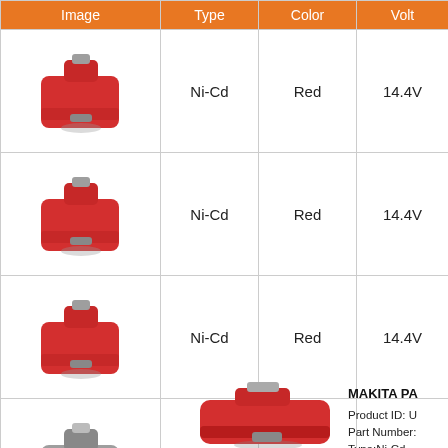| Image | Type | Color | Volt |
| --- | --- | --- | --- |
| [red battery image] | Ni-Cd | Red | 14.4V |
| [red battery image] | Ni-Cd | Red | 14.4V |
| [red battery image] | Ni-Cd | Red | 14.4V |
| [gray/red battery image] | Ni-MH | Red | 14.4V |
| [red battery image] | Ni-MH | Red | 14.4V |
[Figure (photo): Large red Makita battery pack]
MAKITA PA
Product ID: U
Part Number:
Type:Ni-Cd
Volt: 14.4V
Capacity: 13